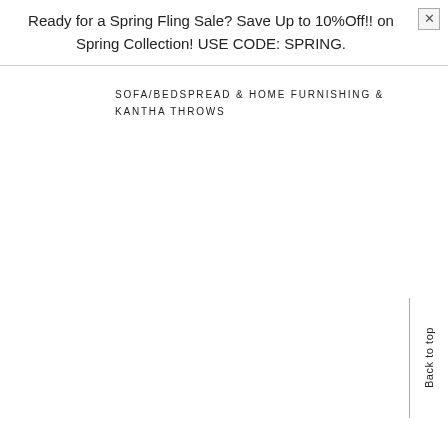Ready for a Spring Fling Sale? Save Up to 10%Off!! on Spring Collection! USE CODE: SPRING.
SOFA/BEDSPREAD & HOME FURNISHING & KANTHA THROWS
Back to top